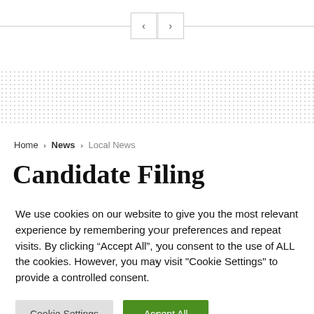< >
[Figure (other): Decorative dotted pattern background banner]
Home > News > Local News
Candidate Filing
We use cookies on our website to give you the most relevant experience by remembering your preferences and repeat visits. By clicking “Accept All”, you consent to the use of ALL the cookies. However, you may visit "Cookie Settings" to provide a controlled consent.
Cookie Settings | Accept All